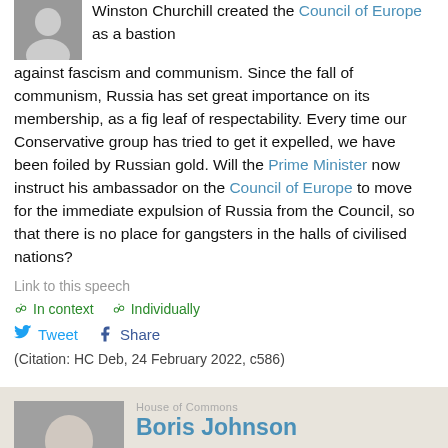Winston Churchill created the Council of Europe as a bastion against fascism and communism. Since the fall of communism, Russia has set great importance on its membership, as a fig leaf of respectability. Every time our Conservative group has tried to get it expelled, we have been foiled by Russian gold. Will the Prime Minister now instruct his ambassador on the Council of Europe to move for the immediate expulsion of Russia from the Council, so that there is no place for gangsters in the halls of civilised nations?
Link to this speech
In context   Individually
Tweet   Share
(Citation: HC Deb, 24 February 2022, c586)
Boris Johnson - The Prime Minister, Leader of the Conservative Party, The Prime Minister
Eloquently put, and my right hon. Friend is dead right. I think my hon. Friend John Howell, who is on the Council of Europe, made that point the other day, and I certainly agree with it.